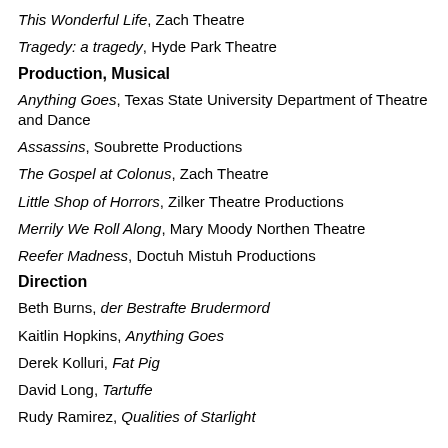This Wonderful Life, Zach Theatre
Tragedy: a tragedy, Hyde Park Theatre
Production, Musical
Anything Goes, Texas State University Department of Theatre and Dance
Assassins, Soubrette Productions
The Gospel at Colonus, Zach Theatre
Little Shop of Horrors, Zilker Theatre Productions
Merrily We Roll Along, Mary Moody Northen Theatre
Reefer Madness, Doctuh Mistuh Productions
Direction
Beth Burns, der Bestrafte Brudermord
Kaitlin Hopkins, Anything Goes
Derek Kolluri, Fat Pig
David Long, Tartuffe
Rudy Ramirez, Qualities of Starlight